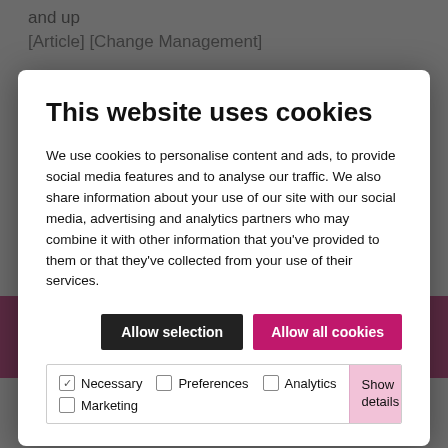and up
[Article] [Change Management]
This website uses cookies
We use cookies to personalise content and ads, to provide social media features and to analyse our traffic. We also share information about your use of our site with our social media, advertising and analytics partners who may combine it with other information that you’ve provided to them or that they’ve collected from your use of their services.
Allow selection | Allow all cookies
Necessary | Preferences | Analytics | Marketing | Show details
[Figure (screenshot): Pink banner with decorative white geometric shapes]
Article ►
Our extensive range of articles are designed to keep